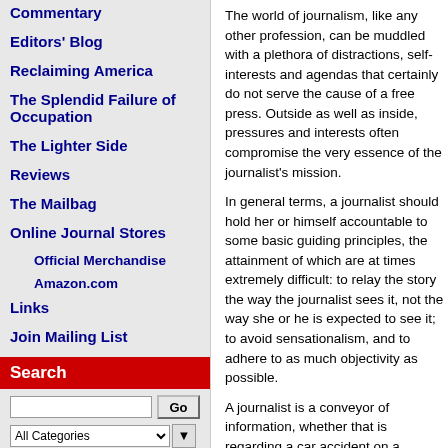Commentary
Editors' Blog
Reclaiming America
The Splendid Failure of Occupation
The Lighter Side
Reviews
The Mailbag
Online Journal Stores
Official Merchandise
Amazon.com
Links
Join Mailing List
Search
The world of journalism, like any other profession, can be muddled with a plethora of distractions, self-interests and agendas that certainly do not serve the cause of a free press. Outside as well as inside, pressures and interests often compromise the very essence of the journalist's mission.
In general terms, a journalist should hold her or himself accountable to some basic guiding principles, the attainment of which are at times extremely difficult: to relay the story the way the journalist sees it, not the way she or he is expected to see it; to avoid sensationalism, and to adhere to as much objectivity as possible.
A journalist is a conveyor of information, whether that is regarding a car accident on a highway or the news of a village that was wiped off the map in Afghanistan. Regardless of what story is being told, a journalist must consult his or her conscience in the way the story is conveyed, without fear and without regard for anyone's vested interests. On a practical level, there comes a time when a journalist has to take sides: when one's moral
Toro trial l
How
Stra Pale Ame
Med Man reali
Are i impo sieg
The
Desp is no
Gam pres
Oops
Cou mus